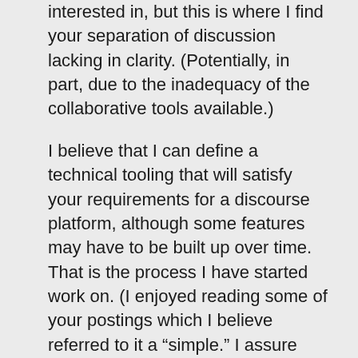interested in, but this is where I find your separation of discussion lacking in clarity. (Potentially, in part, due to the inadequacy of the collaborative tools available.)
I believe that I can define a technical tooling that will satisfy your requirements for a discourse platform, although some features may have to be built up over time. That is the process I have started work on. (I enjoyed reading some of your postings which I believe referred to it a “simple.” I assure you, it is anything but.)
The “new system” is a different story. Its not a software set, nor is it a paper. The “new system” makes sense to theorize, but only